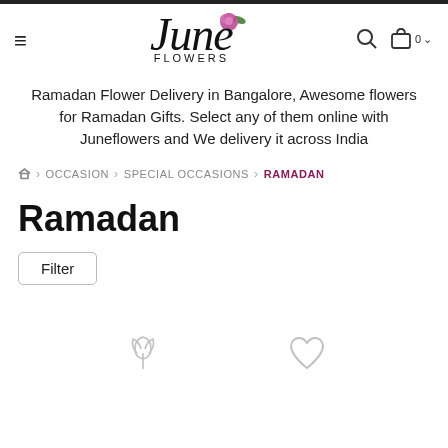[Figure (logo): June Flowers logo with cursive 'June' text, rose illustration, and 'FLOWERS' subtitle]
Ramadan Flower Delivery in Bangalore, Awesome flowers for Ramadan Gifts. Select any of them online with Juneflowers and We delivery it across India
Home > OCCASION > SPECIAL OCCASIONS > RAMADAN
Ramadan
Filter